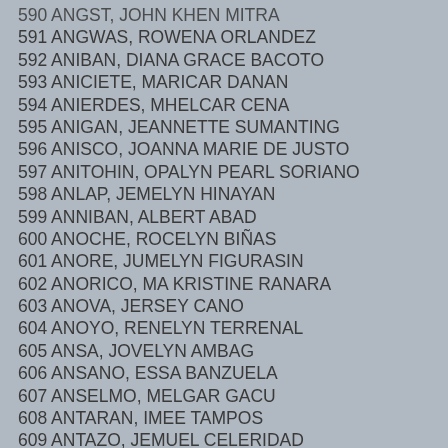590 ANGST, JOHN KHEN MITRA
591 ANGWAS, ROWENA ORLANDEZ
592 ANIBAN, DIANA GRACE BACOTO
593 ANICIETE, MARICAR DANAN
594 ANIERDES, MHELCAR CENA
595 ANIGAN, JEANNETTE SUMANTING
596 ANISCO, JOANNA MARIE DE JUSTO
597 ANITOHIN, OPALYN PEARL SORIANO
598 ANLAP, JEMELYN HINAYAN
599 ANNIBAN, ALBERT ABAD
600 ANOCHE, ROCELYN BIÑAS
601 ANORE, JUMELYN FIGURASIN
602 ANORICO, MA KRISTINE RANARA
603 ANOVA, JERSEY CANO
604 ANOYO, RENELYN TERRENAL
605 ANSA, JOVELYN AMBAG
606 ANSANO, ESSA BANZUELA
607 ANSELMO, MELGAR GACU
608 ANTARAN, IMEE TAMPOS
609 ANTAZO, JEMUEL CELERIDAD
610 ANTIMOR, DAISY GALUPE
611 ANTIPALA, PATRICK DENNIS JUSTBA
612 ANTORINA, ELY ROY PADILLA